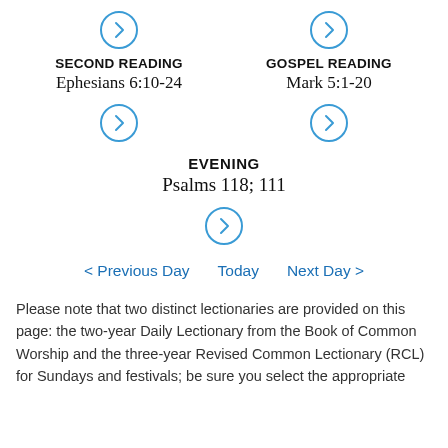SECOND READING
GOSPEL READING
Ephesians 6:10-24
Mark 5:1-20
EVENING
Psalms 118; 111
< Previous Day   Today   Next Day >
Please note that two distinct lectionaries are provided on this page: the two-year Daily Lectionary from the Book of Common Worship and the three-year Revised Common Lectionary (RCL) for Sundays and festivals; be sure you select the appropriate